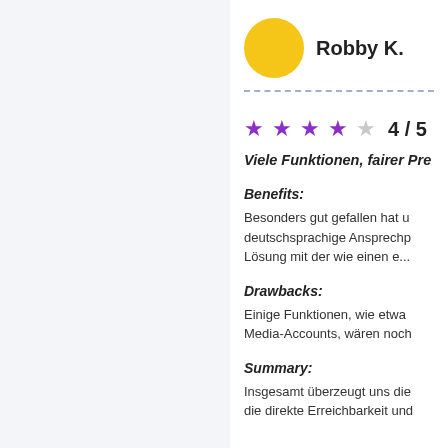Robby K.
4 / 5
Viele Funktionen, fairer Pre…
Benefits:
Besonders gut gefallen hat u deutschsprachige Ansprechp Lösung mit der wie einen e...
Drawbacks:
Einige Funktionen, wie etwa Media-Accounts, wären noch
Summary:
Insgesamt überzeugt uns die die direkte Erreichbarkeit und